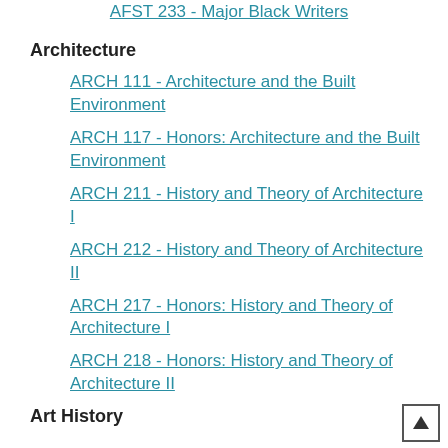AFST 233 - Major Black Writers
Architecture
ARCH 111 - Architecture and the Built Environment
ARCH 117 - Honors: Architecture and the Built Environment
ARCH 211 - History and Theory of Architecture I
ARCH 212 - History and Theory of Architecture II
ARCH 217 - Honors: History and Theory of Architecture I
ARCH 218 - Honors: History and Theory of Architecture II
Art History